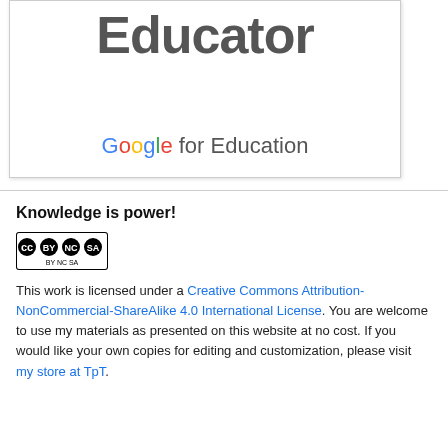[Figure (logo): Google for Education logo with 'Educator' text above and 'Google for Education' wordmark below, inside a white box with light border]
Knowledge is power!
[Figure (logo): Creative Commons BY-NC-SA license badge]
This work is licensed under a Creative Commons Attribution-NonCommercial-ShareAlike 4.0 International License. You are welcome to use my materials as presented on this website at no cost. If you would like your own copies for editing and customization, please visit my store at TpT.